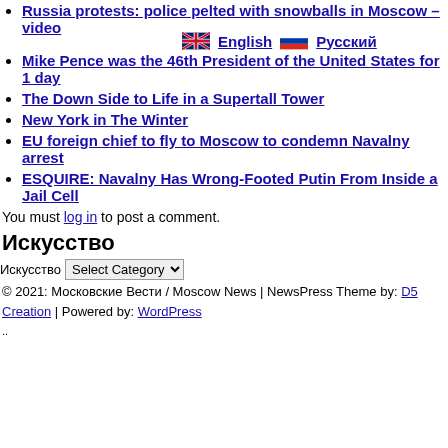Russia protests: police pelted with snowballs in Moscow – video
Mike Pence was the 46th President of the United States for 1 day
The Down Side to Life in a Supertall Tower
New York in The Winter
EU foreign chief to fly to Moscow to condemn Navalny arrest
ESQUIRE: Navalny Has Wrong-Footed Putin From Inside a Jail Cell
You must log in to post a comment.
Искусство
Искусство Select Category
© 2021: Московские Вести / Moscow News | NewsPress Theme by: D5 Creation | Powered by: WordPress